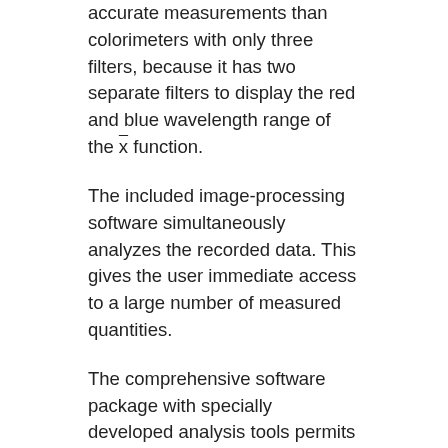accurate measurements than colorimeters with only three filters, because it has two separate filters to display the red and blue wavelength range of the x̄ function.
The included image-processing software simultaneously analyzes the recorded data. This gives the user immediate access to a large number of measured quantities.
The comprehensive software package with specially developed analysis tools permits easy further analysis of the measuring results for all areas of application.
Interchangeable objective lenses with adjustable focus and variable aperture offer solutions to accommodate a wide range of different requirements for measuring distances, measuring resolution and image field size.
The LumiCam 1300 Mono is a luminance camera,